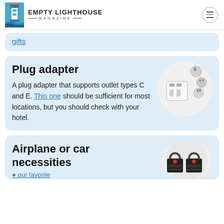EMPTY LIGHTHOUSE MAGAZINE
gifts
Plug adapter
A plug adapter that supports outlet types C and E. This one should be sufficient for most locations, but you should check with your hotel.
[Figure (photo): A white universal plug adapter with multiple plug attachments in gray/silver]
Airplane or car necessities
our favorite
[Figure (photo): Two black TSA combination padlocks with cables]